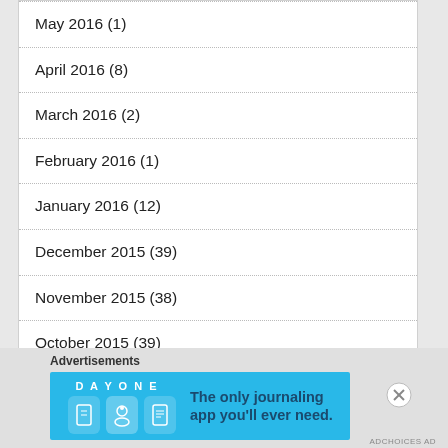May 2016 (1)
April 2016 (8)
March 2016 (2)
February 2016 (1)
January 2016 (12)
December 2015 (39)
November 2015 (38)
October 2015 (39)
September 2015 (34)
August 2015 (36)
Advertisements
[Figure (photo): Day One app advertisement banner: blue background with app icons and text 'The only journaling app you'll ever need.']